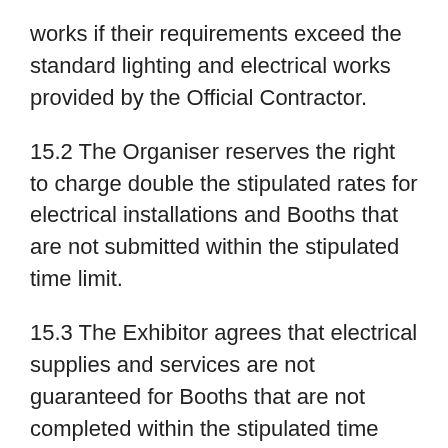works if their requirements exceed the standard lighting and electrical works provided by the Official Contractor.
15.2 The Organiser reserves the right to charge double the stipulated rates for electrical installations and Booths that are not submitted within the stipulated time limit.
15.3 The Exhibitor agrees that electrical supplies and services are not guaranteed for Booths that are not completed within the stipulated time limit.